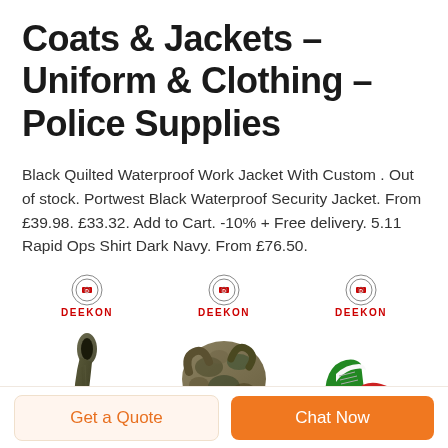Coats & Jackets - Uniform & Clothing - Police Supplies
Black Quilted Waterproof Work Jacket With Custom . Out of stock. Portwest Black Waterproof Security Jacket. From £39.98. £33.32. Add to Cart. -10% + Free delivery. 5.11 Rapid Ops Shirt Dark Navy. From £76.50.
[Figure (illustration): Three product cards each with a Deekon logo (circular emblem with red text DEEKON). First card shows a dark olive/khaki scarf. Second card shows a camouflage patterned scarf. Third card shows a colorful sneaker (green, red, white, black).]
Get a Quote
Chat Now